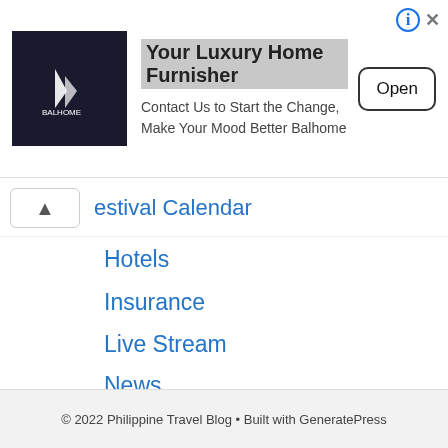[Figure (advertisement): Balhome ad banner with logo, title 'Your Luxury Home Furnisher', subtitle 'Contact Us to Start the Change, Make Your Mood Better Balhome', and an 'Open' button]
Festival Calendar
Hotels
Insurance
Live Stream
News
Palawan
Quezon
© 2022 Philippine Travel Blog • Built with GeneratePress